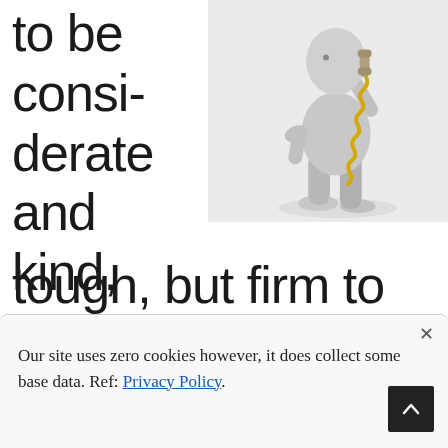to be considerate and kind, tough, but firm to be successful at the job.
[Figure (illustration): 3D rendered figure of a grey humanoid person talking on a telephone with a coiled yellow cord, standing against a light grey background.]
Our site uses zero cookies however, it does collect some base data. Ref: Privacy Policy.